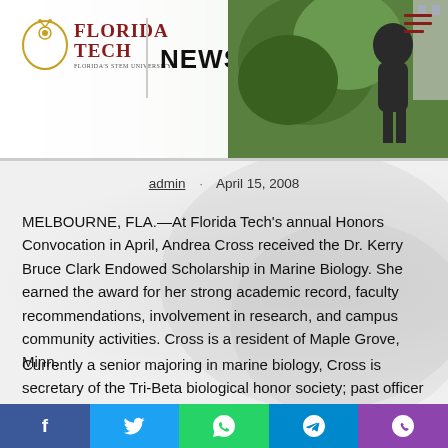[Figure (photo): Florida Tech News website header with logo on left and green foliage/statue photo on right]
admin · April 15, 2008
MELBOURNE, FLA.—At Florida Tech's annual Honors Convocation in April, Andrea Cross received the Dr. Kerry Bruce Clark Endowed Scholarship in Marine Biology. She earned the award for her strong academic record, faculty recommendations, involvement in research, and campus community activities. Cross is a resident of Maple Grove, Minn.
Currently a senior majoring in marine biology, Cross is secretary of the Tri-Beta biological honor society; past officer of the Aquaculture Society and Best Buddies, a service
f  ✓  WhatsApp  Telegram  phone